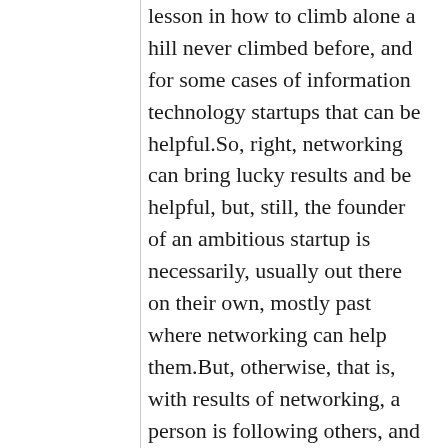lesson in how to climb alone a hill never climbed before, and for some cases of information technology startups that can be helpful.So, right, networking can bring lucky results and be helpful, but, still, the founder of an ambitious startup is necessarily, usually out there on their own, mostly past where networking can help them.But, otherwise, that is, with results of networking, a person is following others, and in that acyclic directed graph there must be some people out there alone and not following anyone else. So, necessarily there have to be people out there alone; for an ambitious startup, it's better if the founder is such a person instead of trying to follow, maybe several